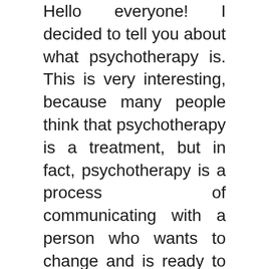Hello everyone! I decided to tell you about what psychotherapy is. This is very interesting, because many people think that psychotherapy is a treatment, but in fact, psychotherapy is a process of communicating with a person who wants to change and is ready to work on himself.
About us
Contact
Privacy Policy & Cookies
ATTENTION TO RIGHT HOLDERS! All materials are posted on the site strictly for informational and educational purposes! If